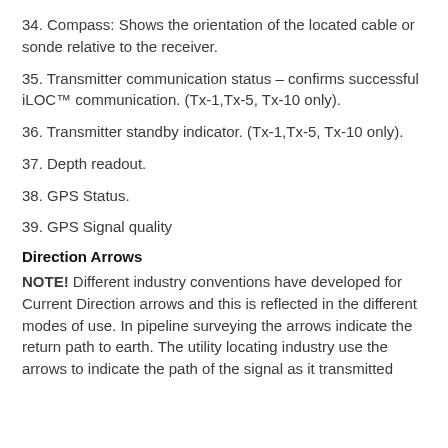34. Compass: Shows the orientation of the located cable or sonde relative to the receiver.
35. Transmitter communication status – confirms successful iLOC™ communication. (Tx-1,Tx-5, Tx-10 only).
36. Transmitter standby indicator. (Tx-1,Tx-5, Tx-10 only).
37. Depth readout.
38. GPS Status.
39. GPS Signal quality
Direction Arrows
NOTE! Different industry conventions have developed for Current Direction arrows and this is reflected in the different modes of use. In pipeline surveying the arrows indicate the return path to earth. The utility locating industry use the arrows to indicate the path of the signal as it transmitted